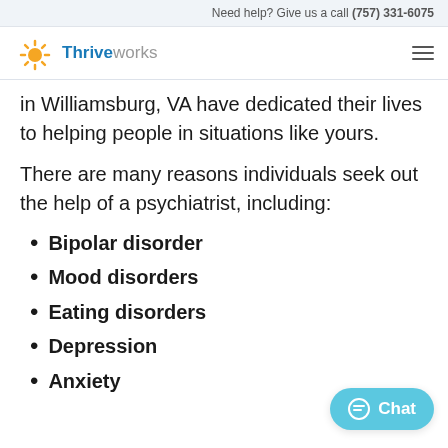Need help? Give us a call (757) 331-6075
[Figure (logo): Thriveworks logo with sun rays icon and text 'Thriveworks']
in Williamsburg, VA have dedicated their lives to helping people in situations like yours.
There are many reasons individuals seek out the help of a psychiatrist, including:
Bipolar disorder
Mood disorders
Eating disorders
Depression
Anxiety